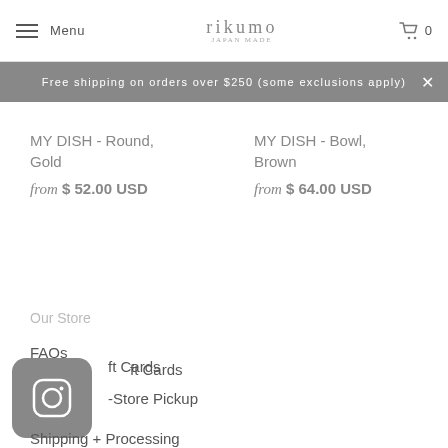Menu | rikumo | 0
Free shipping on orders over $250 (some exclusions apply)
MY DISH - Round, Gold
from $ 52.00 USD
MY DISH - Bowl, Brown
from $ 64.00 USD
Our Store
FAQs
Gift Cards
[Figure (logo): Instagram icon - rounded square with circle]
In-Store Pickup
Shipping + Processing